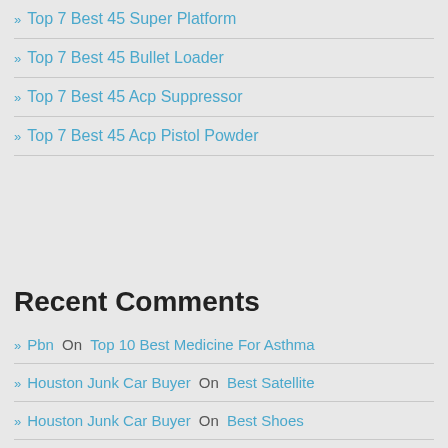» Top 7 Best 45 Super Platform
» Top 7 Best 45 Bullet Loader
» Top 7 Best 45 Acp Suppressor
» Top 7 Best 45 Acp Pistol Powder
Recent Comments
» Pbn On Top 10 Best Medicine For Asthma
» Houston Junk Car Buyer On Best Satellite
» Houston Junk Car Buyer On Best Shoes